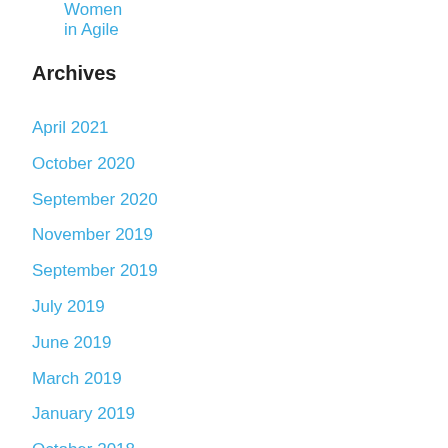Women in Agile
Archives
April 2021
October 2020
September 2020
November 2019
September 2019
July 2019
June 2019
March 2019
January 2019
October 2018
August 2018